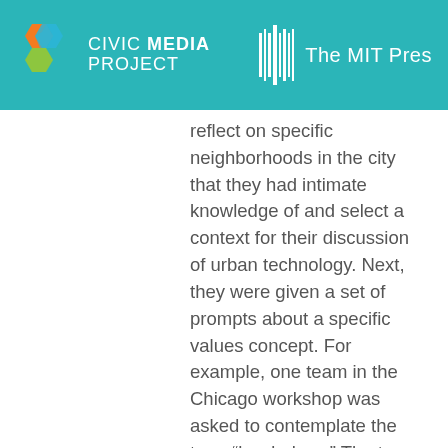CIVIC MEDIA PROJECT | The MIT Press
reflect on specific neighborhoods in the city that they had intimate knowledge of and select a context for their discussion of urban technology. Next, they were given a set of prompts about a specific values concept. For example, one team in the Chicago workshop was asked to contemplate the term “borderless.” The term is particularly relevant given the city’s physical and environmental boundaries (e.g. the river that separates the downtown business district known as “The Loop” from other parts of the city,